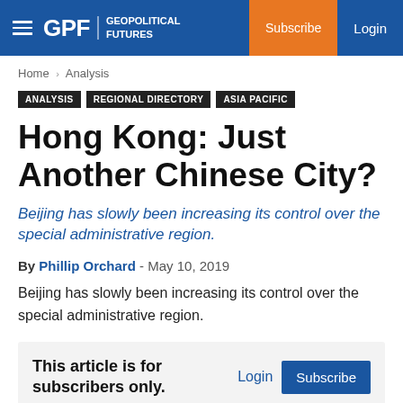GPF | GEOPOLITICAL FUTURES   Subscribe   Login
Home › Analysis
ANALYSIS   REGIONAL DIRECTORY   ASIA PACIFIC
Hong Kong: Just Another Chinese City?
Beijing has slowly been increasing its control over the special administrative region.
By Phillip Orchard - May 10, 2019
Beijing has slowly been increasing its control over the special administrative region.
This article is for subscribers only.